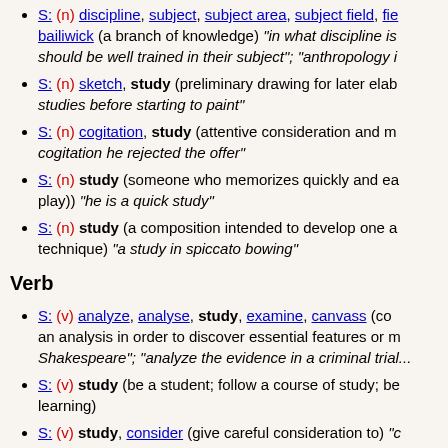S: (n) discipline, subject, subject area, subject field, field, field of study, bailiwick (a branch of knowledge) "in what discipline is should be well trained in their subject"; "anthropology i..."
S: (n) sketch, study (preliminary drawing for later elab studies before starting to paint"
S: (n) cogitation, study (attentive consideration and m cogitation he rejected the offer"
S: (n) study (someone who memorizes quickly and ea play)) "he is a quick study"
S: (n) study (a composition intended to develop one a technique) "a study in spiccato bowing"
Verb
S: (v) analyze, analyse, study, examine, canvass (co an analysis in order to discover essential features or m Shakespeare"; "analyze the evidence in a criminal trial..."
S: (v) study (be a student; follow a course of study; be learning)
S: (v) study, consider (give careful consideration to) "c moving"
S: (v) learn, study, read, take (be a student of a certai the bar exam"
S: (v) study, hit the books (learn by reading books)"H..."